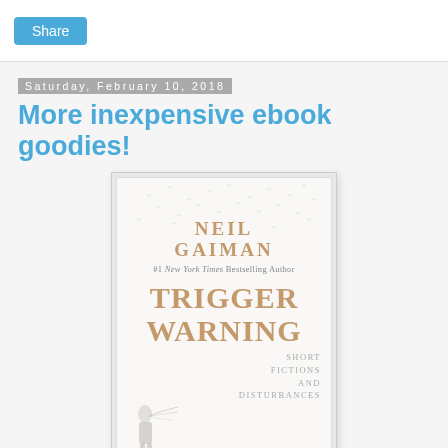Share
Saturday, February 10, 2018
More inexpensive ebook goodies!
[Figure (photo): Book cover of 'Trigger Warning: Short Fictions and Disturbances' by Neil Gaiman, #1 New York Times Bestselling Author. Cover shows large serif text with a figure and birds in muted tones.]